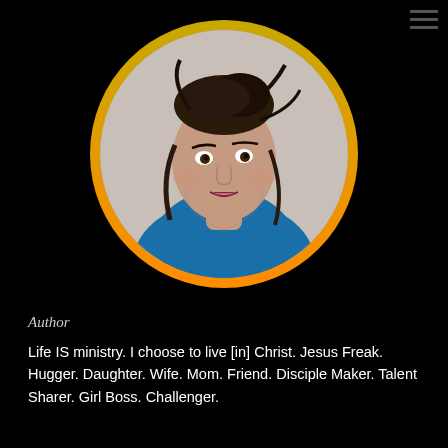[Figure (photo): Portrait photo of a woman with dark hair pulled up, wearing a blue top, displayed inside a circular frame with a gold-to-orange gradient border. A hamburger menu icon appears in the top right corner.]
Author
Life IS ministry.  I choose to live [in] Christ.  Jesus Freak.  Hugger.  Daughter. Wife.  Mom. Friend. Disciple Maker.  Talent Sharer. Girl Boss.  Challenger.